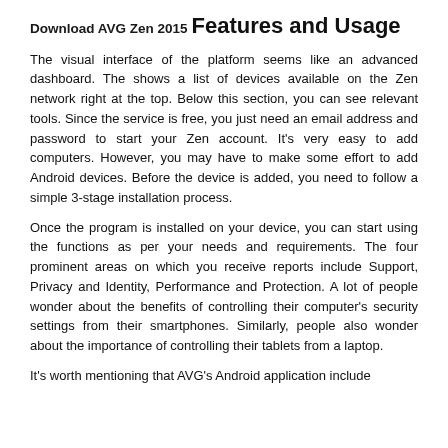Download AVG Zen 2015
Features and Usage
The visual interface of the platform seems like an advanced dashboard. The shows a list of devices available on the Zen network right at the top. Below this section, you can see relevant tools. Since the service is free, you just need an email address and password to start your Zen account. It's very easy to add computers. However, you may have to make some effort to add Android devices. Before the device is added, you need to follow a simple 3-stage installation process.
Once the program is installed on your device, you can start using the functions as per your needs and requirements. The four prominent areas on which you receive reports include Support, Privacy and Identity, Performance and Protection. A lot of people wonder about the benefits of controlling their computer's security settings from their smartphones. Similarly, people also wonder about the importance of controlling their tablets from a laptop.
It's worth mentioning that AVG's Android application include